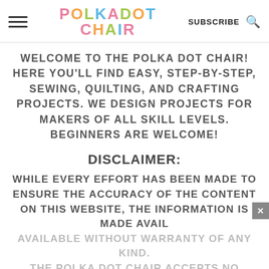POLKADOT CHAIR — SUBSCRIBE (search icon)
WELCOME TO THE POLKA DOT CHAIR! HERE YOU'LL FIND EASY, STEP-BY-STEP, SEWING, QUILTING, AND CRAFTING PROJECTS. WE DESIGN PROJECTS FOR MAKERS OF ALL SKILL LEVELS. BEGINNERS ARE WELCOME!
DISCLAIMER:
WHILE EVERY EFFORT HAS BEEN MADE TO ENSURE THE ACCURACY OF THE CONTENT ON THIS WEBSITE, THE INFORMATION IS MADE AVAILABLE WITHOUT WARRANTY OF ANY KIND. THE POLKA DOT CHAIR ACCEPTS NO